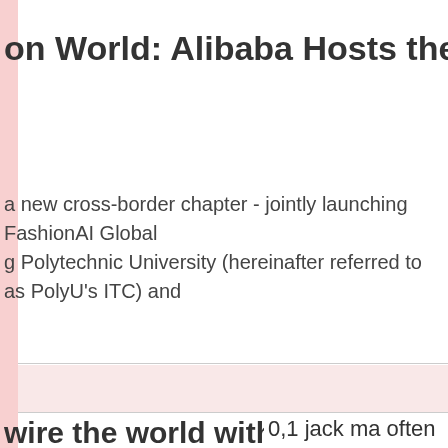on World: Alibaba Hosts the First Global
a new cross-border chapter - jointly launching FashionAI Global g Polytechnic University (hereinafter referred to as PolyU's ITC) and
0,1 jack ma often gives back to places where he is most appreciated-
wire the world with AI